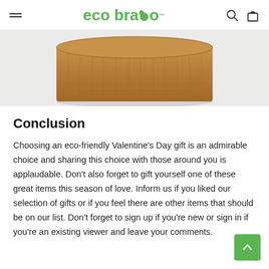eco bravo
[Figure (photo): Close-up photo of the bottom of a cork item against a light grey/white background, showing cork texture]
Conclusion
Choosing an eco-friendly Valentine’s Day gift is an admirable choice and sharing this choice with those around you is applaudable. Don’t also forget to gift yourself one of these great items this season of love. Inform us if you liked our selection of gifts or if you feel there are other items that should be on our list. Don’t forget to sign up if you’re new or sign in if you’re an existing viewer and leave your comments.